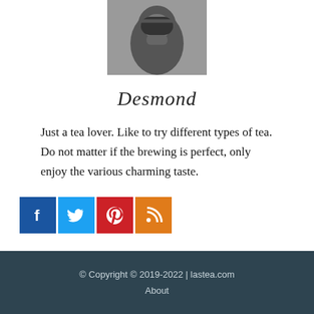[Figure (photo): Headshot of a man with long hair and glasses wearing a dark jacket, photographed against a gray background]
Desmond
Just a tea lover. Like to try different types of tea. Do not matter if the brewing is perfect, only enjoy the various charming taste.
[Figure (infographic): Social media icons: Facebook (blue), Twitter (light blue), Pinterest (red), RSS (orange)]
© Copyright © 2019-2022 | lastea.com
About